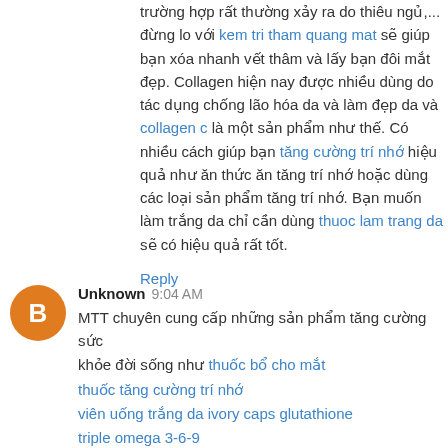trường hợp rất thường xảy ra do thiêu ngủ,... đừng lo với kem tri tham quang mat sẽ giúp bạn xóa nhanh vết thâm và lấy bạn đôi mắt đẹp. Collagen hiện nay được nhiều dùng do tác dụng chống lão hóa da và làm đẹp da và collagen c là một sản phẩm như thế. Có nhiều cách giúp bạn tăng cường trí nhớ hiệu quả như ăn thức ăn tăng trí nhớ hoặc dùng các loại sản phẩm tăng trí nhớ. Bạn muốn làm trắng da chỉ cần dùng thuoc lam trang da sẽ có hiệu quả rất tốt.
Reply
Unknown 9:04 AM
MTT chuyên cung cấp những sản phẩm tăng cường sức khỏe đời sống như thuốc bổ cho mắt
thuốc tăng cường trí nhớ
viên uống trắng da ivory caps glutathione
triple omega 3-6-9
thuoc multivitamin
thuoc giam can tot nhat
mỹ phẩm sakura nhật bản
Bạn đang thắc mắc hay phân vân lựa chọn cho mình loại...